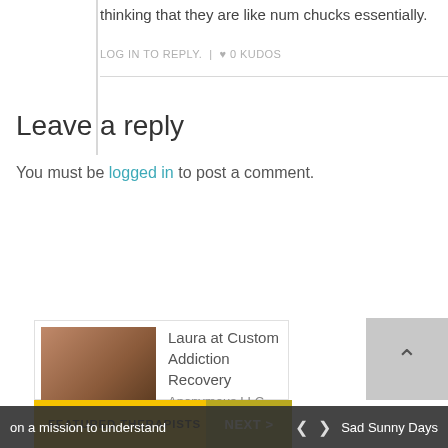thinking that they are like num chucks essentially.
LOG IN TO REPLY. | ♥ 0 KUDOS
Leave a reply
You must be logged in to post a comment.
FEATURED THERAPISTS
NEXT >
Laura at Custom Addiction Recovery Anonymous LLC
on a mission to understand   <   >   Sad Sunny Days